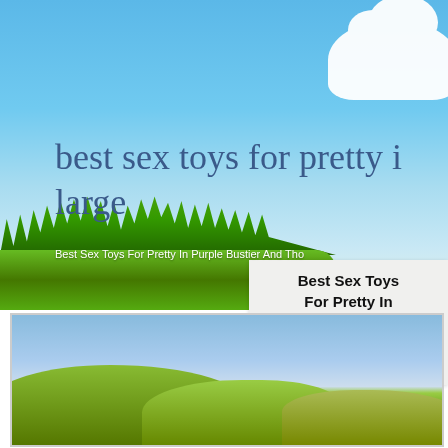[Figure (illustration): Hero banner with blue sky, white cloud in top-right, green grass in foreground]
best sex toys for pretty i large
Best Sex Toys For Pretty In Purple Bustier And Tho
Best Sex Toys For Pretty In Purple Bustier And Thong X-l
[Figure (illustration): Rolling green hills landscape with blue sky]